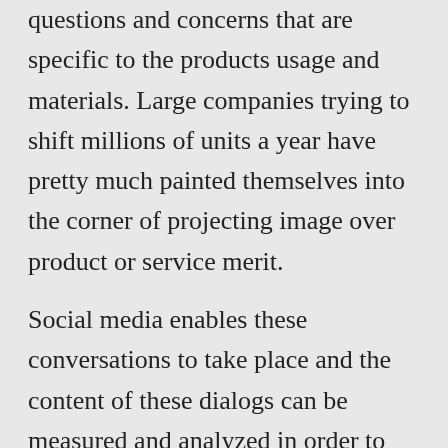questions and concerns that are specific to the products usage and materials. Large companies trying to shift millions of units a year have pretty much painted themselves into the corner of projecting image over product or service merit.
Social media enables these conversations to take place and the content of these dialogs can be measured and analyzed in order to provide fast and effective responses. People are gradually picking up on the fact that they no longer have to sit back and have their wants and needs dictated to them. Social media marketing starts out by asking the questions, 'What are you doing?' 'What do you want?' 'What is your opinion?'. This is a major shift and it immediately gives advantage to smaller businesses that have already been differentiating themselves based on the